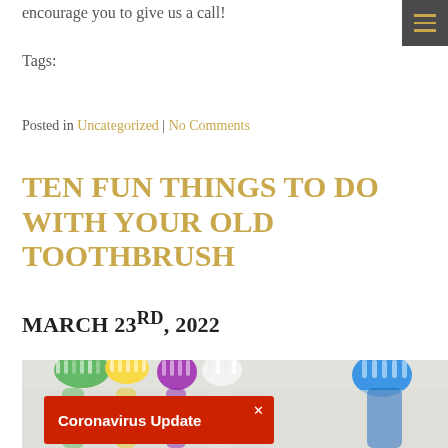encourage you to give us a call!
Tags:
Posted in Uncategorized | No Comments
TEN FUN THINGS TO DO WITH YOUR OLD TOOTHBRUSH
MARCH 23RD, 2022
[Figure (photo): Multiple colorful toothbrushes (green, yellow, purple, white, blue) clustered together, viewed from above at an angle]
Coronavirus Update